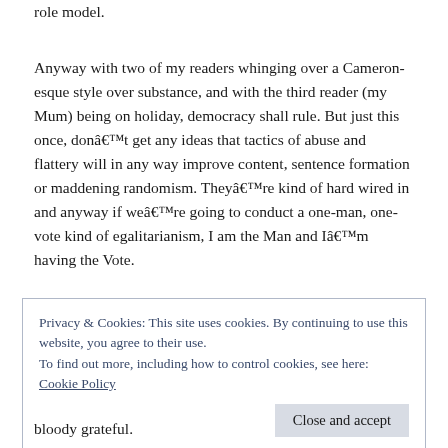role model.
Anyway with two of my readers whinging over a Cameron-esque style over substance, and with the third reader (my Mum) being on holiday, democracy shall rule. But just this once, donâ€™t get any ideas that tactics of abuse and flattery will in any way improve content, sentence formation or maddening randomism. Theyâ€™re kind of hard wired in and anyway if weâ€™re going to conduct a one-man, one-vote kind of egalitarianism, I am the Man and Iâ€™m having the Vote.
Privacy & Cookies: This site uses cookies. By continuing to use this website, you agree to their use.
To find out more, including how to control cookies, see here: Cookie Policy
Close and accept
bloody grateful.